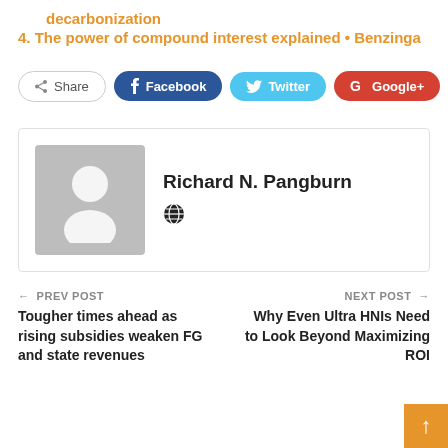decarbonization
4. The power of compound interest explained • Benzinga
[Figure (infographic): Social share buttons row: Share, Facebook, Twitter, Google+, and a plus button]
Richard N. Pangburn
← PREV POST
Tougher times ahead as rising subsidies weaken FG and state revenues
NEXT POST →
Why Even Ultra HNIs Need to Look Beyond Maximizing ROI